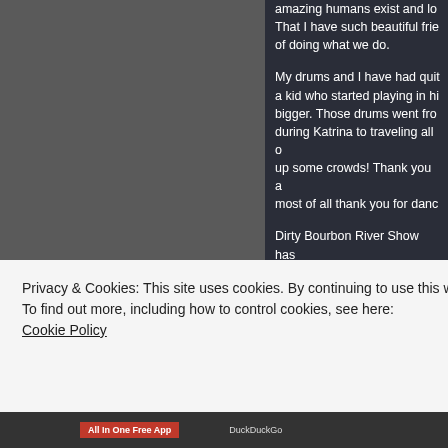[Figure (screenshot): Left grey panel of a webpage screenshot]
amazing humans exist and lo... That I have such beautiful frie... of doing what we do.

My drums and I have had quit... a kid who started playing in hi... bigger. Those drums went fro... during Katrina to traveling all ... up some crowds! Thank you a... most of all thank you for danc...

Dirty Bourbon River Show ha... me, more than just us playing... has been a dream come true.
Privacy & Cookies: This site uses cookies. By continuing to use this website, you agree to their use.
To find out more, including how to control cookies, see here:
Cookie Policy